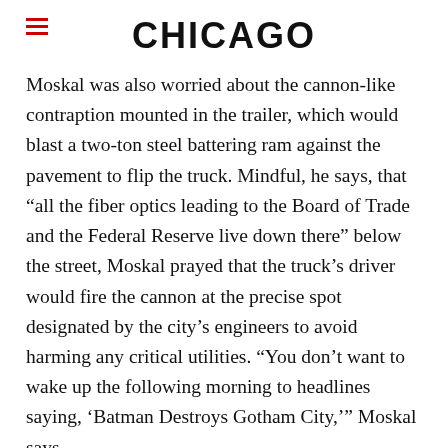CHICAGO
Moskal was also worried about the cannon-like contraption mounted in the trailer, which would blast a two-ton steel battering ram against the pavement to flip the truck. Mindful, he says, that “all the fiber optics leading to the Board of Trade and the Federal Reserve live down there” below the street, Moskal prayed that the truck’s driver would fire the cannon at the precise spot designated by the city’s engineers to avoid harming any critical utilities. “You don’t want to wake up the following morning to headlines saying, ‘Batman Destroys Gotham City,’” Moskal says.
* * *